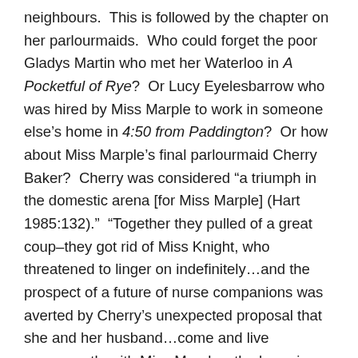neighbours.  This is followed by the chapter on her parlourmaids.  Who could forget the poor Gladys Martin who met her Waterloo in A Pocketful of Rye?  Or Lucy Eyelesbarrow who was hired by Miss Marple to work in someone else's home in 4:50 from Paddington?  Or how about Miss Marple's final parlourmaid Cherry Baker?  Cherry was considered “a triumph in the domestic arena [for Miss Marple] (Hart 1985:132).”  “Together they pulled of a great coup–they got rid of Miss Knight, who threatened to linger on indefinitely…and the prospect of a future of nurse companions was averted by Cherry’s unexpected proposal that she and her husband…come and live permanently with Miss Marple…the bargain was struck and…nine years later…Cherry and her husband are still in residence…Thus,…Miss Marple cleverly achieved… the servant who suited her perfectly (Hart 1985:133-134).”